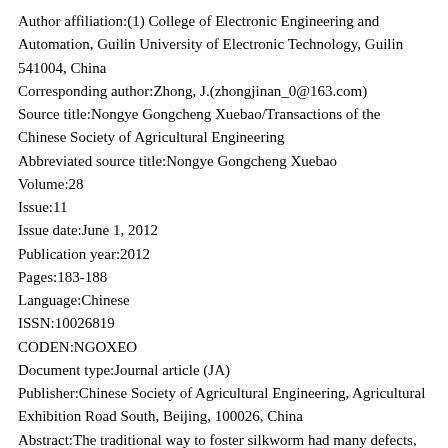Author affiliation:(1) College of Electronic Engineering and Automation, Guilin University of Electronic Technology, Guilin 541004, China
Corresponding author:Zhong, J.(zhongjinan_0@163.com)
Source title:Nongye Gongcheng Xuebao/Transactions of the Chinese Society of Agricultural Engineering
Abbreviated source title:Nongye Gongcheng Xuebao
Volume:28
Issue:11
Issue date:June 1, 2012
Publication year:2012
Pages:183-188
Language:Chinese
ISSN:10026819
CODEN:NGOXEO
Document type:Journal article (JA)
Publisher:Chinese Society of Agricultural Engineering, Agricultural Exhibition Road South, Beijing, 100026, China
Abstract:The traditional way to foster silkworm had many defects, such as inconvenient to use, easily lead to misoperation and probable to hazard